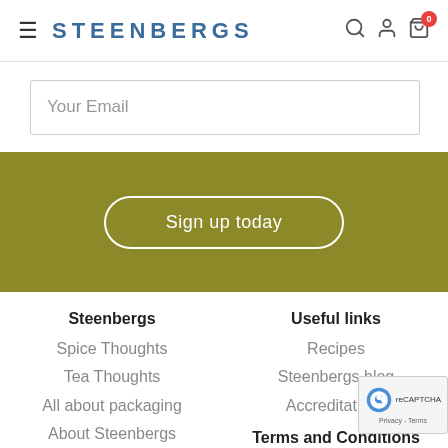≡  STEENBERGS  🔍 👤 🛒 0
Your Email
Sign up today
Steenbergs
Spice Thoughts
Tea Thoughts
All about packaging
About Steenbergs
Stockists
Contact us
Useful links
Recipes
Steenbergs blog
Accreditations
Terms and Conditions
Conditions of Sale
Users' Agreement
Privacy Statement